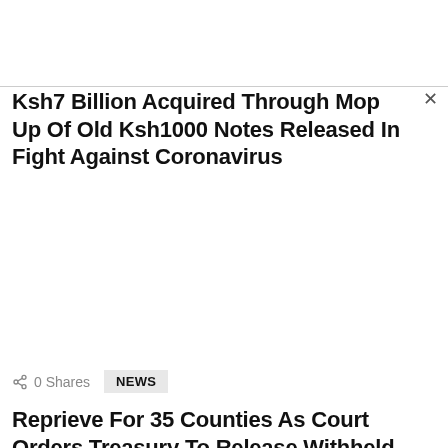Ksh7 Billion Acquired Through Mop Up Of Old Ksh1000 Notes Released In Fight Against Coronavirus
0 Shares
NEWS
Reprieve For 35 Counties As Court Orders Treasury To Release Withheld Funds